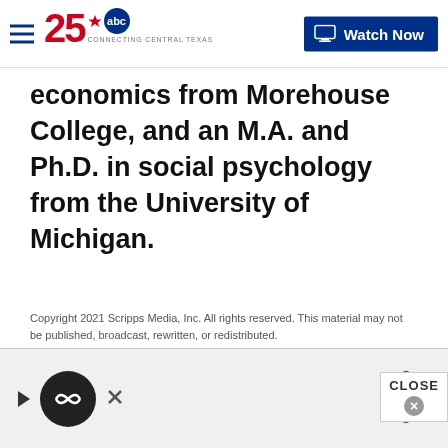25 ABC - Connecting Central Texas | Watch Now
economics from Morehouse College, and an M.A. and Ph.D. in social psychology from the University of Michigan.
Copyright 2021 Scripps Media, Inc. All rights reserved. This material may not be published, broadcast, rewritten, or redistributed.
Sign up for the Headlines Newsletter and receive up to date information.
E-mail